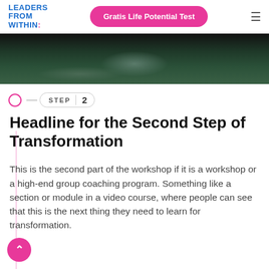LEADERS FROM WITHIN:
Gratis Life Potential Test
[Figure (photo): Dark nature scene with rocks and grass, moody landscape photo]
STEP 2
Headline for the Second Step of Transformation
This is the second part of the workshop if it is a workshop or a high-end group coaching program. Something like a section or module in a video course, where people can see that this is the next thing they need to learn for transformation.